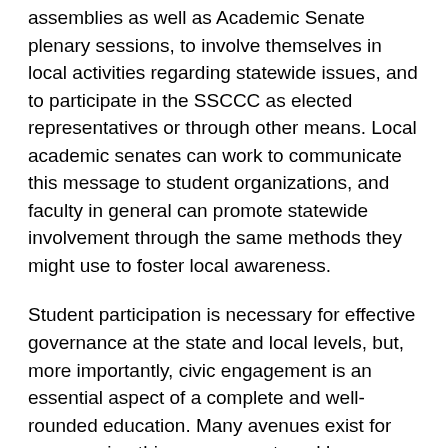assemblies as well as Academic Senate plenary sessions, to involve themselves in local activities regarding statewide issues, and to participate in the SSCCC as elected representatives or through other means. Local academic senates can work to communicate this message to student organizations, and faculty in general can promote statewide involvement through the same methods they might use to foster local awareness.
Student participation is necessary for effective governance at the state and local levels, but, more importantly, civic engagement is an essential aspect of a complete and well-rounded education. Many avenues exist for encouraging this engagement, and by fostering student involvement faculty and colleges will enhance the educational experience of our students and more fully prepare those students to be active and productive members of their communities after that educational experience ends.